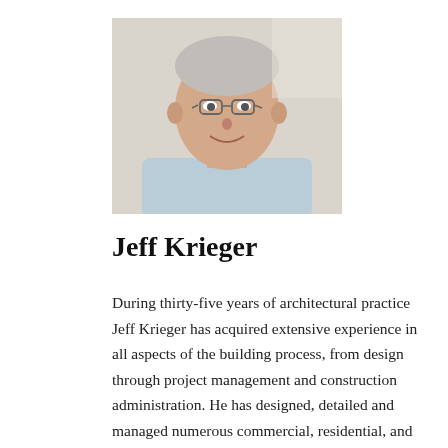[Figure (photo): Headshot photo of Jeff Krieger, a middle-aged man with short gray hair, glasses, and a friendly smile, wearing a light blue collared shirt, photographed against a light background.]
Jeff Krieger
During thirty-five years of architectural practice Jeff Krieger has acquired extensive experience in all aspects of the building process, from design through project management and construction administration. He has designed, detailed and managed numerous commercial, residential, and institutional projects throughout the United States and abroad. Prior to founding the firm in 1992, Jeff worked for several well-known architectural firms, most recently with